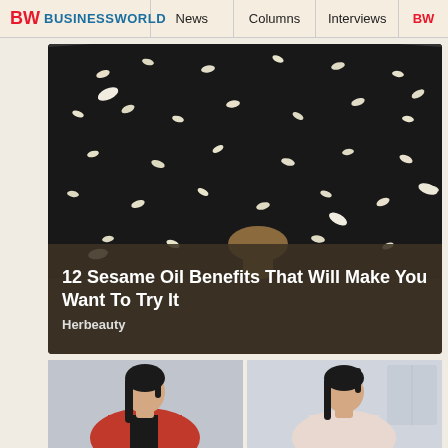BW BUSINESSWORLD | News | Columns | Interviews | BW
[Figure (photo): Close-up overhead photo of black sesame seeds being toasted in a dark pan with a wooden spoon, some white sesame seeds scattered among black ones]
12 Sesame Oil Benefits That Will Make You Want To Try It
Herbeauty
[Figure (photo): Two side-by-side photos of Asian women: left photo shows a woman in red and black outfit with dark hair in a ponytail; right photo shows a woman in light pink with dark hair in a ponytail against a light blue background]